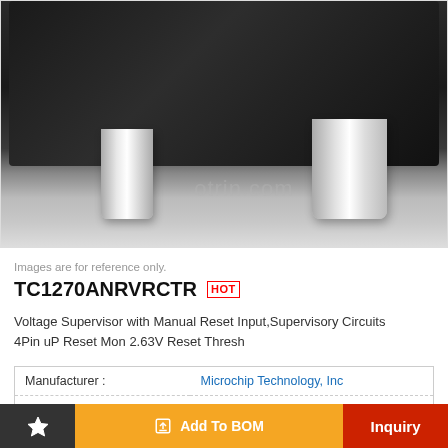[Figure (photo): Close-up photo of a SOT-143-4 surface mount IC package showing black plastic body with two silver metallic leads visible from below, with watermark text 'otrin.com']
Images are for reference only.
TC1270ANRVRCTR  HOT
Voltage Supervisor with Manual Reset Input,Supervisory Circuits 4Pin uP Reset Mon 2.63V Reset Thresh
| Field | Value |
| --- | --- |
| Manufacturer : | Microchip Technology, Inc |
| Package/Case : | SOT-143-4 |